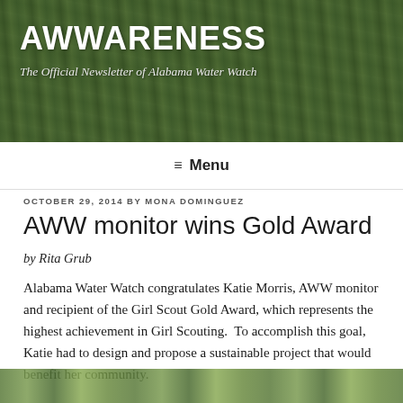[Figure (photo): Header banner photo of aquatic vegetation/reeds with dark green overlay]
AWWARENESS
The Official Newsletter of Alabama Water Watch
≡  Menu
OCTOBER 29, 2014 BY MONA DOMINGUEZ
AWW monitor wins Gold Award
by Rita Grub
Alabama Water Watch congratulates Katie Morris, AWW monitor and recipient of the Girl Scout Gold Award, which represents the highest achievement in Girl Scouting.  To accomplish this goal, Katie had to design and propose a sustainable project that would benefit her community.
[Figure (photo): Partial photo strip at bottom of page showing outdoor/nature scene]